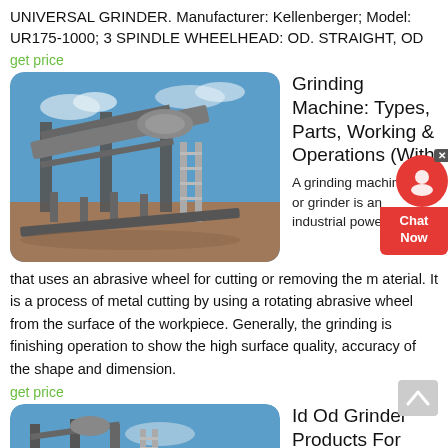UNIVERSAL GRINDER. Manufacturer: Kellenberger; Model: UR175-1000; 3 SPINDLE WHEELHEAD: OD. STRAIGHT, OD
get price
[Figure (photo): Industrial grinding/conveyor machine structure outdoors with blue sky background]
Grinding Machine: Types, Parts, Working & Operations (With
A grinding machine or grinder is an industrial power tool that uses an abrasive wheel for cutting or removing the m aterial. It is a process of metal cutting by using a rotating abrasive wheel from the surface of the workpiece. Generally, the grinding is finishing operation to show the high surface quality, accuracy of the shape and dimension.
get price
[Figure (photo): Partial view of industrial machinery against blue sky, bottom of page]
Id Od Grinder Products For Sale EBay